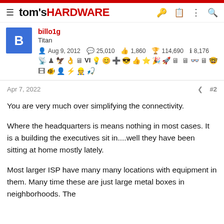tom's HARDWARE
billo1g
Titan
Aug 9, 2012  25,010  1,860  114,690
8,176
Apr 7, 2022  #2
You are very much over simplifying the connectivity.
Where the headquarters is means nothing in most cases. It is a building the executives sit in....well they have been sitting at home mostly lately.
Most larger ISP have many many locations with equipment in them. Many time these are just large metal boxes in neighborhoods. The